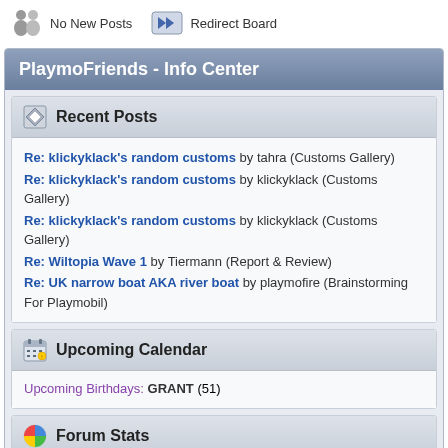[Figure (illustration): No New Posts icon with two figures]
No New Posts
[Figure (illustration): Redirect Board icon with double arrows]
Redirect Board
PlaymoFriends - Info Center
Recent Posts
Re: klickyklack's random customs by tahra (Customs Gallery)
Re: klickyklack's random customs by klickyklack (Customs Gallery)
Re: klickyklack's random customs by klickyklack (Customs Gallery)
Re: Wiltopia Wave 1 by Tiermann (Report & Review)
Re: UK narrow boat AKA river boat by playmofire (Brainstorming For Playmobil)
Upcoming Calendar
Upcoming Birthdays: GRANT (51)
Forum Stats
317301 Posts in 16560 Topics by 872 Members. Latest Member: Michela0
View the most recent posts on the forum.
Users Online
34 Guests, 0 Users
Most Online Today: 43. Most Online Ever: 448 (July 21, 2019, 18:15:08)